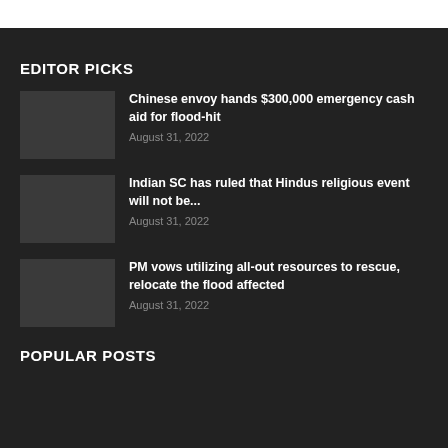EDITOR PICKS
Chinese envoy hands $300,000 emergency cash aid for flood-hit
August 31, 2022
Indian SC has ruled that Hindus religious event will not be...
August 31, 2022
PM vows utilizing all-out resources to rescue, relocate the flood affected
August 31, 2022
POPULAR POSTS